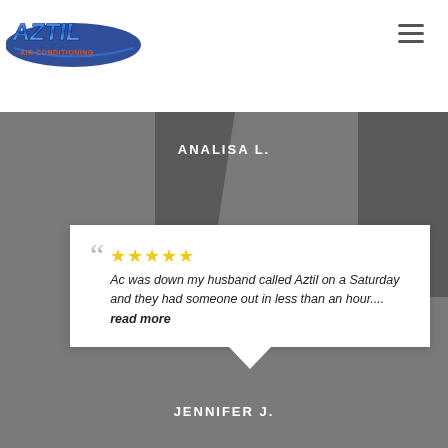[Figure (logo): Aztil Air Conditioning company logo in blue metallic style with red and orange text accents]
ANALISA L.
" ★★★★★ Ac was down my husband called Aztil on a Saturday and they had someone out in less than an hour.... read more
JENNIFER J.